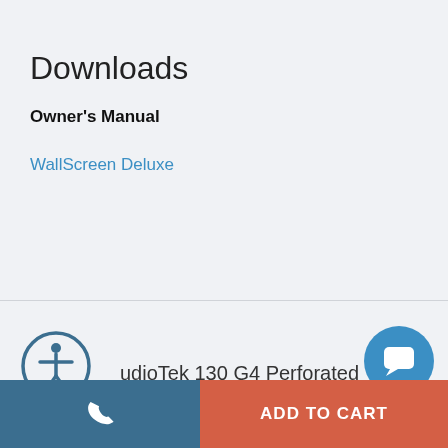Downloads
Owner's Manual
WallScreen Deluxe
udioTek 130 G4 Perforated
[Figure (illustration): Accessibility icon - person in circle]
[Figure (illustration): Chat button - speech bubble icon in blue circle]
[Figure (illustration): Phone call button icon]
ADD TO CART